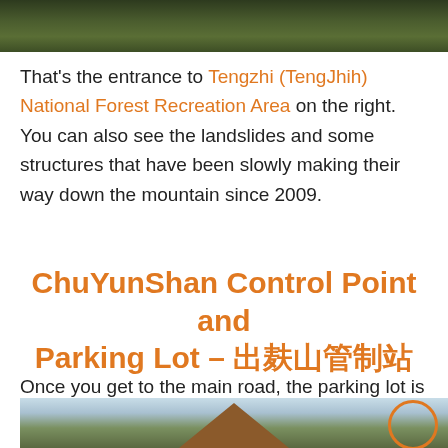[Figure (photo): Top portion of a photo showing dense green forest/vegetation on a mountain, cropped at top of page]
That's the entrance to Tengzhi (TengJhih) National Forest Recreation Area on the right. You can also see the landslides and some structures that have been slowly making their way down the mountain since 2009.
ChuYunShan Control Point and Parking Lot – 出雲山管制站
Once you get to the main road, the parking lot is very close. I parked first and then walked around and took some pictures.
[Figure (photo): Bottom portion showing a wooden A-frame building with triangular roof against a light blue sky, surrounded by green and autumn-colored trees. An orange circle overlay appears on the right side.]